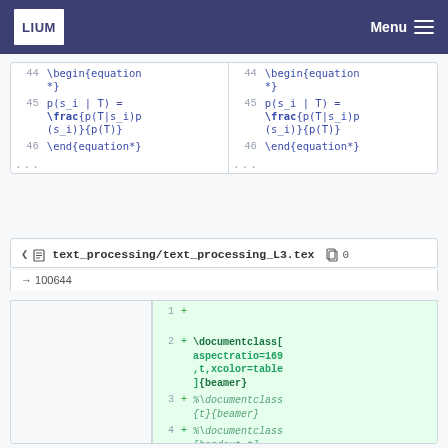LIUM Menu
[Figure (screenshot): Side-by-side diff view showing LaTeX code lines 44-46 with \begin{equation*}, p(s_i | T) = \frac{p(T|s_i)p(s_i)}{p(T)}, and \end{equation*}]
text_processing/text_processing_L3.tex  0
→ 100644
[Figure (screenshot): Diff view showing added lines 1-4: + \documentclass[aspectratio=169,t,xcolor=table]{beamer}, + %\documentclass{t}{beamer}, + %\documentclass[handout,t]{...]